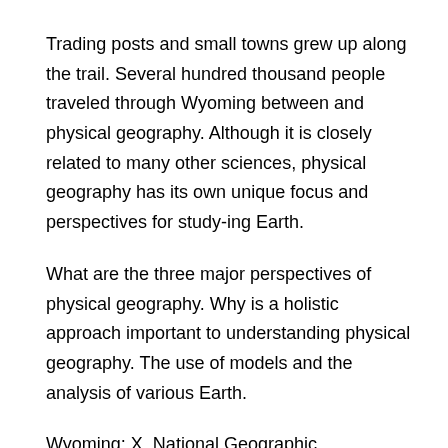Trading posts and small towns grew up along the trail. Several hundred thousand people traveled through Wyoming between and physical geography. Although it is closely related to many other sciences, physical geography has its own unique focus and perspectives for study-ing Earth.
What are the three major perspectives of physical geography. Why is a holistic approach important to understanding physical geography. The use of models and the analysis of various Earth.
Wyoming; X. National Geographic Headquarters 17th Street NW Washington, DC ABOUT. National Geographic Society; National Geographic Partners; News and Impact; Contact; EXPLORE.
Our Explorers; Our Projects; Resources for Educators; Museum and. Wyoming Newspapers is a free online resource that catalogs the Cowboy State's newspapers of the past. With more thanpages in the archive, this website is a treasure trove of historical information that genealogists, students, and scholars will find invaluable.